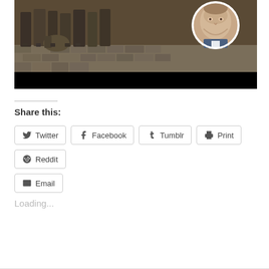[Figure (photo): A news article image showing a group of soldiers or armed men standing on a cobblestone street. In the upper right corner, there is a circular inset portrait photo of a man (Vladimir Putin) in a suit. The lower portion of the image has a black bar.]
Share this:
Twitter | Facebook | Tumblr | Print | Reddit | Email
Loading...